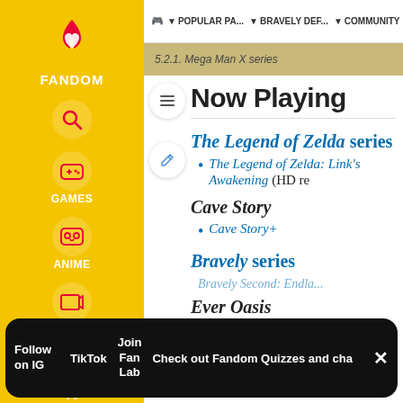POPULAR PA... | BRAVELY DEF... | COMMUNITY
5.2.1. Mega Man X series
Now Playing
The Legend of Zelda series
The Legend of Zelda: Link's Awakening (HD re...
Cave Story
Cave Story+
Bravely series
Ever Oasis
Follow on IG | TikTok | Join Fan Lab | Check out Fandom Quizzes and cha...